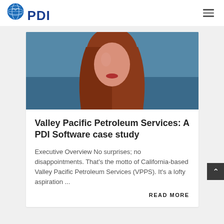[Figure (logo): PDI logo with globe icon and PDI text in blue]
[Figure (photo): Close-up photo of a woman with red hair wearing a red top, smiling]
Valley Pacific Petroleum Services: A PDI Software case study
Executive Overview No surprises; no disappointments. That's the motto of California-based Valley Pacific Petroleum Services (VPPS). It's a lofty aspiration ...
READ MORE